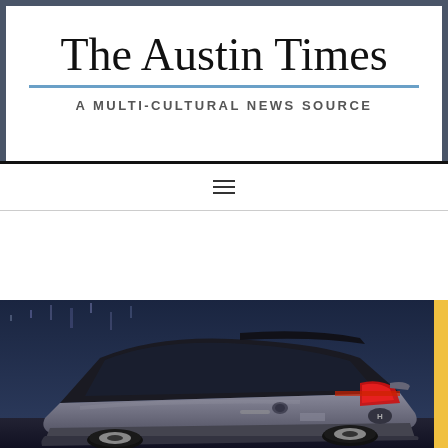The Austin Times
A MULTI-CULTURAL NEWS SOURCE
2016 Honda CR-Z
8:59 AM BY ADMIN — LEAVE A COMMENT
[Figure (photo): Rear three-quarter view of a silver 2016 Honda CR-Z coupe against a nighttime city background]